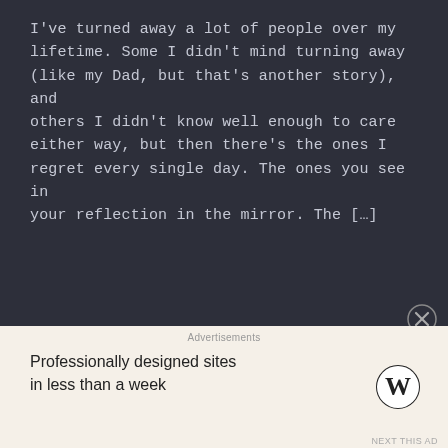I've turned away a lot of people over my lifetime. Some I didn't mind turning away (like my Dad, but that's another story), and others I didn't know well enough to care either way, but then there's the ones I regret every single day. The ones you see in your reflection in the mirror. The […]
Posted in Aspergers, Poetry. Tagged #BoycottAutismSpeaks, anxiety, Aspergers, autism, autism awareness month, Baltimore, closure, fear, friends, girl, memory, remembering, sadness, social, strength.
30 Comments
Advertisements
Professionally designed sites in less than a week